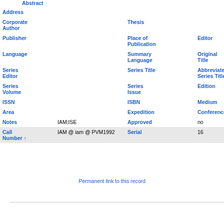| Field | Value1 | Field2 | Value2 |
| --- | --- | --- | --- |
| Abstract |  |  |  |
| Address |  |  |  |
| Corporate Author |  | Thesis |  |
| Publisher |  | Place of Publication | Editor |
| Language |  | Summary Language | Original Title |
| Series Editor |  | Series Title | Abbreviated Series Title |
| Series Volume |  | Series Issue | Edition |
| ISSN |  | ISBN | Medium |
| Area |  | Expedition | Conference CE |
| Notes | IAM;ISE | Approved | no |
| Call Number ↑ | IAM @ iam @ PVM1992 | Serial | 16 |
Permanent link to this record